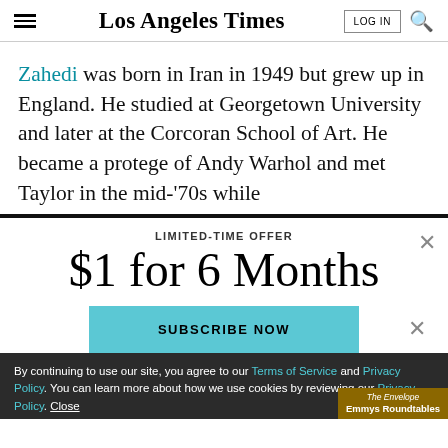Los Angeles Times
Zahedi was born in Iran in 1949 but grew up in England. He studied at Georgetown University and later at the Corcoran School of Art. He became a protege of Andy Warhol and met Taylor in the mid-'70s while
LIMITED-TIME OFFER
$1 for 6 Months
SUBSCRIBE NOW
By continuing to use our site, you agree to our Terms of Service and Privacy Policy. You can learn more about how we use cookies by reviewing our Privacy Policy. Close